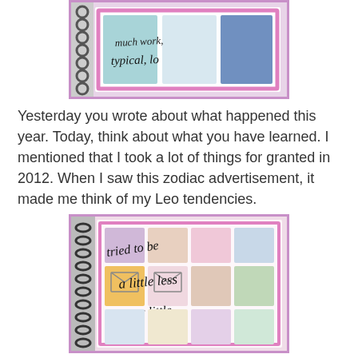[Figure (photo): Photo of a spiral-bound scrapbook/journal with decorative stamps and handwritten cursive text with charm jewelry, showing words like 'typical' on a pink and blue decorated page]
Yesterday you wrote about what happened this year. Today, think about what you have learned. I mentioned that I took a lot of things for granted in 2012. When I saw this zodiac advertisement, it made me think of my Leo tendencies.
[Figure (photo): Photo of a spiral-bound scrapbook journal with colorful decorative envelope stickers and handwritten cursive text reading 'tried to be a little less & every little' with charm jewelry pieces scattered on the page]
Write down one simple thing you can do in 2013 that you did not do (or did not do well) in 2012. Something simple, measurable, and impressionable.
I taped off my page with complimentary washi tape and am left with...